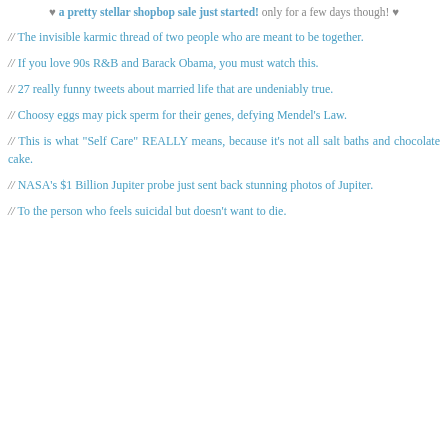♥ a pretty stellar shopbop sale just started! only for a few days though! ♥
// The invisible karmic thread of two people who are meant to be together.
// If you love 90s R&B and Barack Obama, you must watch this.
// 27 really funny tweets about married life that are undeniably true.
// Choosy eggs may pick sperm for their genes, defying Mendel's Law.
// This is what "Self Care" REALLY means, because it's not all salt baths and chocolate cake.
// NASA's $1 Billion Jupiter probe just sent back stunning photos of Jupiter.
// To the person who feels suicidal but doesn't want to die.